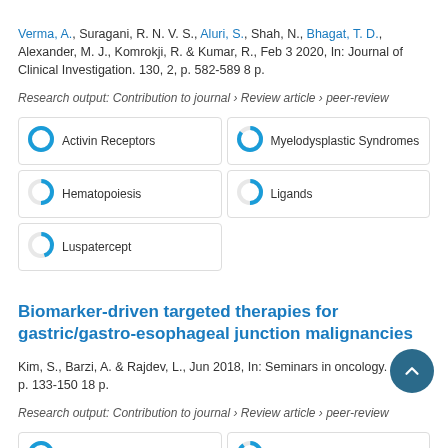Verma, A., Suragani, R. N. V. S., Aluri, S., Shah, N., Bhagat, T. D., Alexander, M. J., Komrokji, R. & Kumar, R., Feb 3 2020, In: Journal of Clinical Investigation. 130, 2, p. 582-589 8 p. Research output: Contribution to journal › Review article › peer-review
[Figure (infographic): Five keyword badges with donut/pie indicators: Activin Receptors (100%), Myelodysplastic Syndromes (~85%), Hematopoiesis (~50%), Ligands (~50%), Luspatercept (~45%)]
Biomarker-driven targeted therapies for gastric/gastro-esophageal junction malignancies
Kim, S., Barzi, A. & Rajdev, L., Jun 2018, In: Seminars in oncology. 45, 3, p. 133-150 18 p. Research output: Contribution to journal › Review article › peer-review
[Figure (infographic): Four keyword badges visible: Stomach (100%), Biomarkers (~90%), Drug Resistance (~65%), Stomach Neoplasms (~65%)]